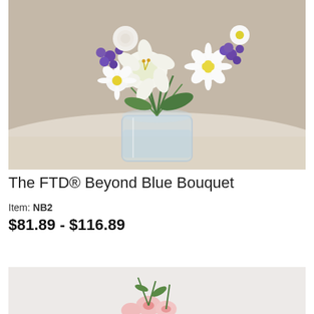[Figure (photo): A floral bouquet of white lilies, white daisies, and purple flowers (hyacinth/statice) in a clear glass vase, placed on a white draped table against a beige background.]
The FTD® Beyond Blue Bouquet
Item: NB2
$81.89 - $116.89
[Figure (photo): Partial view of a pink floral arrangement on a light background — bottom of page, cropped.]